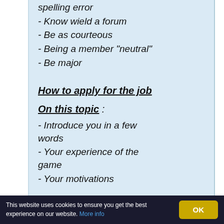spelling error
- Know wield a forum
- Be as courteous
- Being a member "neutral"
- Be major
How to apply for the job
On this topic :
- Introduce you in a few words
- Your experience of the game
- Your motivations
Thank you not to make flood on to this post !
BEST Regard,
This website uses cookies to ensure you get the best experience on our website. More info